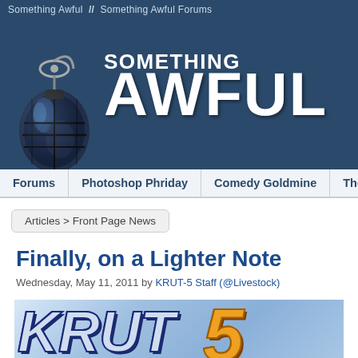Something Awful  //  Something Awful Forums
[Figure (logo): Something Awful website header with grenade logo and SOMETHING AWFUL text in large white bold type on dark blue background]
Forums  |  Photoshop Phriday  |  Comedy Goldmine  |  The Flash Tub  |  WTF, D...
Articles > Front Page News
Finally, on a Lighter Note
Wednesday, May 11, 2011 by KRUT-5 Staff (@Livestock)
[Figure (logo): KRUT-5 Shaggy Butte Action News logo — large blue italic letters KRUT with orange 5, on a light blue gradient background, with black bar at bottom reading SHAGGY BUTTE ACTION NEWS]